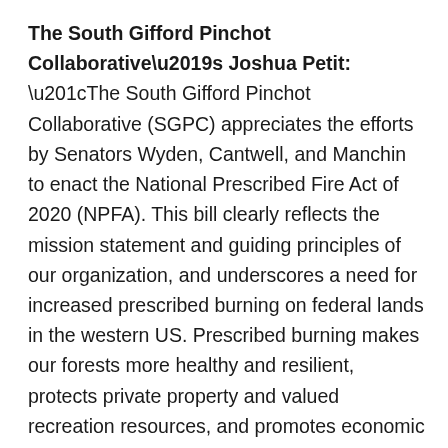The South Gifford Pinchot Collaborative's Joshua Petit: “The South Gifford Pinchot Collaborative (SGPC) appreciates the efforts by Senators Wyden, Cantwell, and Manchin to enact the National Prescribed Fire Act of 2020 (NPFA). This bill clearly reflects the mission statement and guiding principles of our organization, and underscores a need for increased prescribed burning on federal lands in the western US. Prescribed burning makes our forests more healthy and resilient, protects private property and valued recreation resources, and promotes economic vitality within rural and resource-dependent communities. Prescribed burning and other wildfire